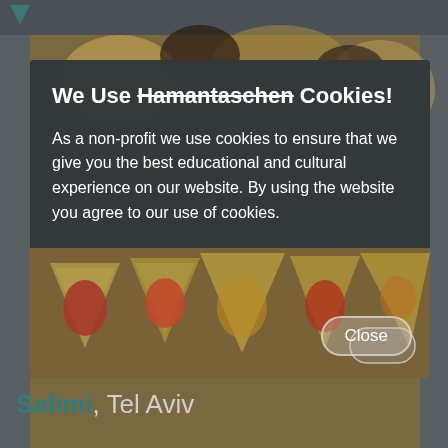[Figure (photo): Background food photo showing hamantaschen cookies and a dark bowl with vegetables, partially obscured by a modal dialog overlay]
We Use Hamantaschen Cookies!
As a non-profit we use cookies to ensure that we give you the best educational and cultural experience on our website. By using the website you agree to our use of cookies.
Close
Salimi, Tel Aviv